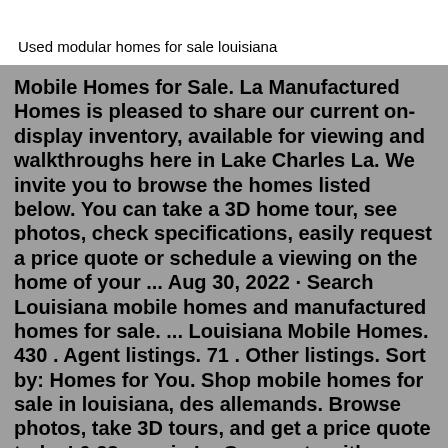Used modular homes for sale louisiana
Mobile Homes for Sale. La Manufactured Homes is pleased to share our current on-display inventory, available for viewing and walkthroughs here in Lake Charles La. We invite you to browse the homes listed below. You can take a 3D home tour, see photos, check specifications, easily request a price quote or schedule a viewing on the home of your ... Aug 30, 2022 · Search Louisiana mobile homes and manufactured homes for sale. ... Louisiana Mobile Homes. 430 . Agent listings. 71 . Other listings. Sort by: Homes for You. Shop mobile homes for sale in louisiana, des allemands. Browse photos, take 3D tours, and get a price quote today! 0.28 acre in La Grange, tx with double wide mobile home for sale $189,900 (La Grange) pic hide this posting restore restore this posting. $64,900. favorite this post Aug 6 display model mobile homes for sale - singlewide doublewide